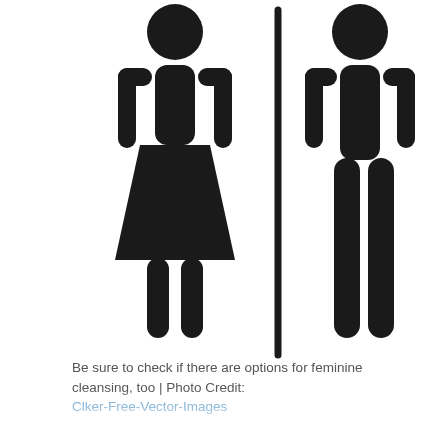[Figure (illustration): Black silhouette icons of a female figure (woman with dress/skirt) and a male figure (man with straight legs), separated by a vertical divider line — standard restroom gender symbols.]
Be sure to check if there are options for feminine cleansing, too | Photo Credit: Clker-Free-Vector-Images
Nozzle Position:
Depending on the style of the attachment the nozzle may be located either at the back of your toilet bowl or round to the side. Regardless of where it is positioned